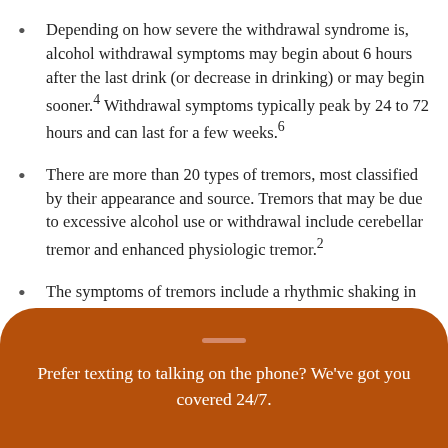Depending on how severe the withdrawal syndrome is, alcohol withdrawal symptoms may begin about 6 hours after the last drink (or decrease in drinking) or may begin sooner.4 Withdrawal symptoms typically peak by 24 to 72 hours and can last for a few weeks.6
There are more than 20 types of tremors, most classified by their appearance and source. Tremors that may be due to excessive alcohol use or withdrawal include cerebellar tremor and enhanced physiologic tremor.2
The symptoms of tremors include a rhythmic shaking in the body, typically the hands; trouble writing or drawing; a shaky voice; or problems holding and controlling utensils. 1,2
Prefer texting to talking on the phone? We've got you covered 24/7.